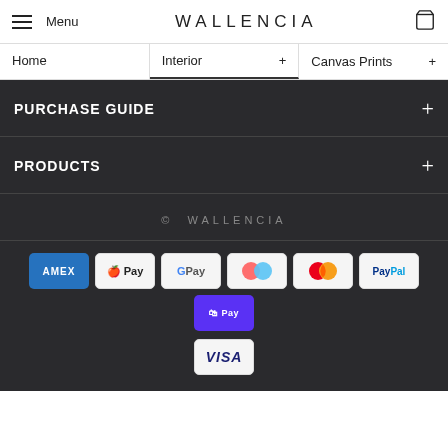Menu  WALLENCIA
Home | Interior + | Canvas Prints +
PURCHASE GUIDE +
PRODUCTS +
© WALLENCIA
[Figure (infographic): Payment method icons: AMEX, Apple Pay, Google Pay, Klarna, Mastercard, PayPal, Shop Pay, Visa]